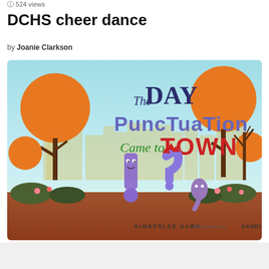524 views
DCHS cheer dance
by Joanie Clarkson
[Figure (illustration): Book cover illustration for 'The Day Punctuation Came to Town' by Kimberlee Gard, illustrated by Sandie Sonke. Features cartoon punctuation mark characters (exclamation mark, question mark, comma) against a city skyline with orange trees.]
[Figure (other): Advertisement for Wayfair Online Home Store for Furniture. Shows furniture product image, text 'Online Home Store for Furniture', 'Shop Wayfair for A Zillion Things Home across all styles', 'www.wayfair.com', and a blue arrow button.]